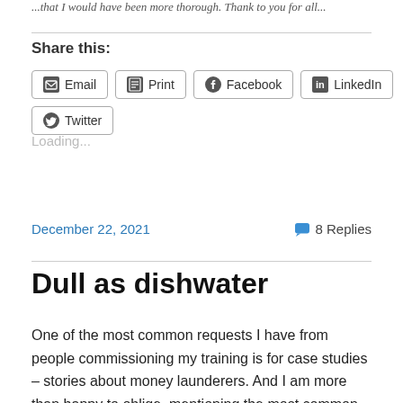...that I would have been more thorough. Thank to you for all...
Share this:
Email  Print  Facebook  LinkedIn  Twitter
Loading...
December 22, 2021   8 Replies
Dull as dishwater
One of the most common requests I have from people commissioning my training is for case studies – stories about money launderers.  And I am more than happy to oblige, mentioning the most common signs of the guilt...